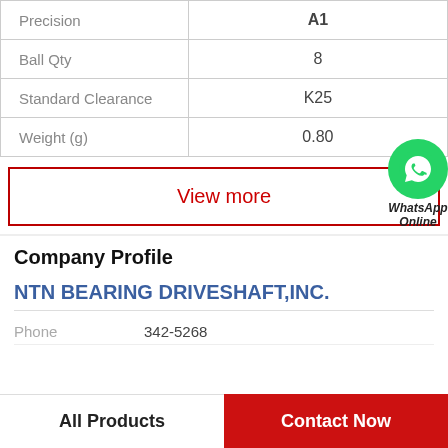| Precision | A1 |
| Ball Qty | 8 |
| Standard Clearance | K25 |
| Weight (g) | 0.80 |
View more
[Figure (logo): WhatsApp green circle icon with phone handset, labeled 'WhatsApp Online' in italic bold text]
Company Profile
NTN BEARING DRIVESHAFT,INC.
Phone   342-5268
All Products
Contact Now